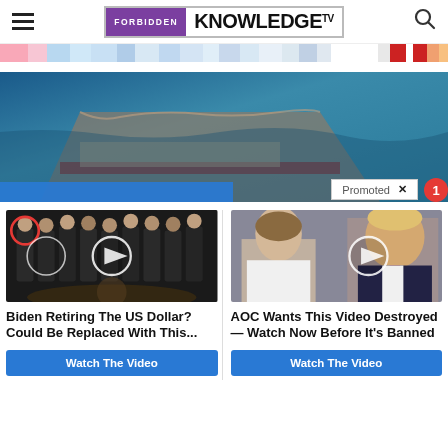FORBIDDEN KNOWLEDGE TV
[Figure (illustration): Color bar with pastel and vivid color swatches spanning the full width]
[Figure (photo): Aerial photograph of a ship at sea with ocean visible; promoted content overlay at bottom right; blue bar at bottom left]
[Figure (photo): Group photo of men in black suits on CIA seal floor with red circle highlighting one person and video play button overlay]
Biden Retiring The US Dollar? Could Be Replaced With This...
Watch The Video
[Figure (photo): Photo of Melania Trump and Donald Trump with video play button overlay]
AOC Wants This Video Destroyed — Watch Now Before It's Banned
Watch The Video